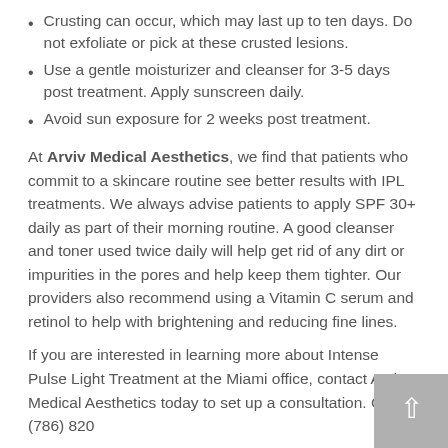Crusting can occur, which may last up to ten days. Do not exfoliate or pick at these crusted lesions.
Use a gentle moisturizer and cleanser for 3-5 days post treatment. Apply sunscreen daily.
Avoid sun exposure for 2 weeks post treatment.
At Arviv Medical Aesthetics, we find that patients who commit to a skincare routine see better results with IPL treatments. We always advise patients to apply SPF 30+ daily as part of their morning routine. A good cleanser and toner used twice daily will help get rid of any dirt or impurities in the pores and help keep them tighter. Our providers also recommend using a Vitamin C serum and retinol to help with brightening and reducing fine lines.
If you are interested in learning more about Intense Pulse Light Treatment at the Miami office, contact Arviv Medical Aesthetics today to set up a consultation. Call (786) 820